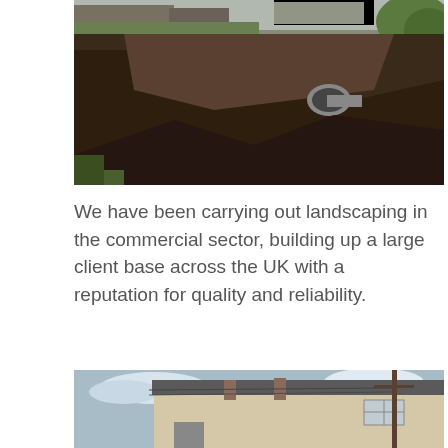[Figure (photo): Aerial-like view of an earthworks excavation site with dark brown soil, a large curved drainage pipe visible in a cut, bordered by grass and green trees in the background with farm buildings visible at the top.]
We have been carrying out landscaping in the commercial sector, building up a large client base across the UK with a reputation for quality and reliability.
[Figure (photo): A row of two-storey residential houses with light beige/cream render, dark roof tiles, chimneys, and a telegraph pole in the foreground against a blue sky with clouds.]